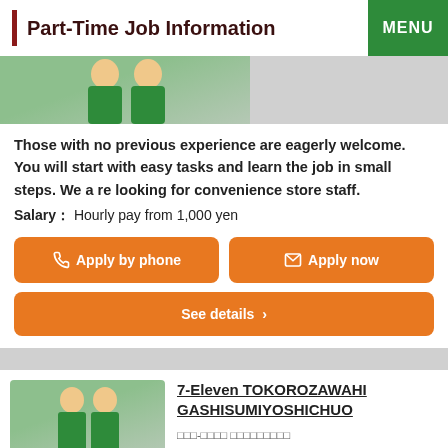Part-Time Job Information
[Figure (photo): Two convenience store staff in green uniforms, partial/cropped at top]
Those with no previous experience are eagerly welcome. You will start with easy tasks and learn the job in small steps. We are looking for convenience store staff.
Salary： Hourly pay from 1,000 yen
Apply by phone
Apply now
See details ›
7-Eleven TOKOROZAWAHIGASHISUMIYOSHICHUO
□□□-□□□□ □□□□□□□□□